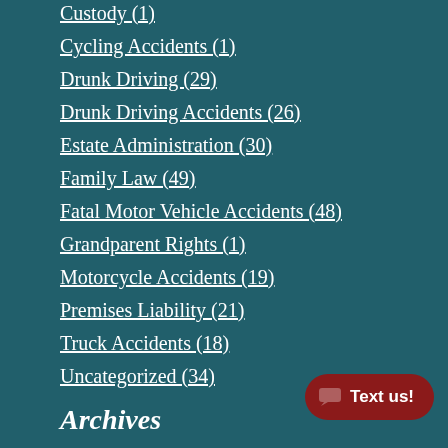Custody (1)
Cycling Accidents (1)
Drunk Driving (29)
Drunk Driving Accidents (26)
Estate Administration (30)
Family Law (49)
Fatal Motor Vehicle Accidents (48)
Grandparent Rights (1)
Motorcycle Accidents (19)
Premises Liability (21)
Truck Accidents (18)
Uncategorized (34)
Archives